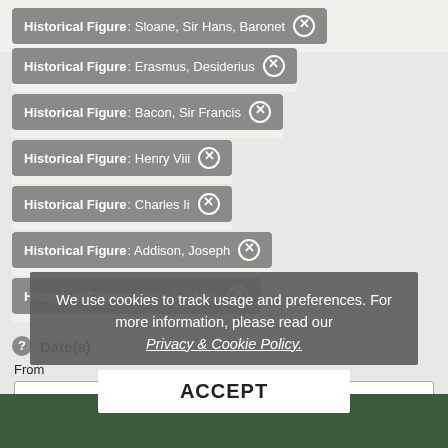Historical Figure: Sloane, Sir Hans, Baronet ×
Historical Figure: Erasmus, Desiderius ×
Historical Figure: Bacon, Sir Francis ×
Historical Figure: Henry Viii ×
Historical Figure: Charles Ii ×
Historical Figure: Addison, Joseph ×
Historical Figure: More, Sir John ×
Date(s)
From
1908
1908
We use cookies to track usage and preferences. For more information, please read our Privacy & Cookie Policy.
ACCEPT